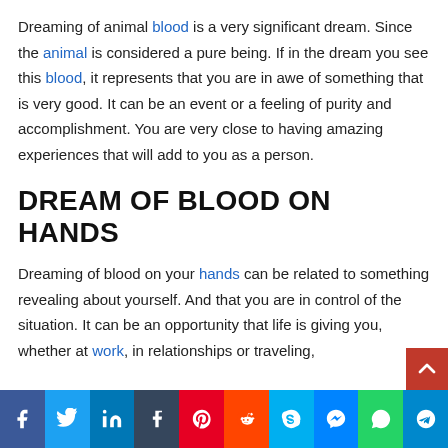Dreaming of animal blood is a very significant dream. Since the animal is considered a pure being. If in the dream you see this blood, it represents that you are in awe of something that is very good. It can be an event or a feeling of purity and accomplishment. You are very close to having amazing experiences that will add to you as a person.
DREAM OF BLOOD ON HANDS
Dreaming of blood on your hands can be related to something revealing about yourself. And that you are in control of the situation. It can be an opportunity that life is giving you, whether at work, in relationships or traveling,
[Figure (other): Social media sharing bar with buttons for Facebook, Twitter, LinkedIn, Tumblr, Pinterest, Reddit, Skype, Messenger, WhatsApp, Telegram]